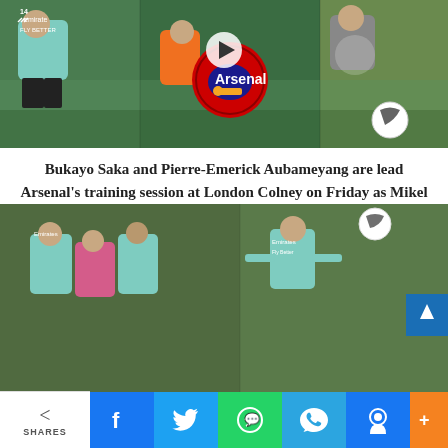[Figure (photo): Arsenal training session at London Colney — players in teal Emirates kit with Arsenal and Premier League logos visible, play button overlay in center]
Bukayo Saka and Pierre-Emerick Aubameyang are lead Arsenal's training session at London Colney on Friday as Mikel Arteta's men put through their paces at club training based ahead of mouthwatering clash against Tottenham Hotspur.
[Figure (photo): Arsenal players in teal Emirates training kit competing for ball during training session at London Colney]
SHARES
Facebook share button
Twitter share button
WhatsApp share button
Telegram share button
Messenger share button
More share options button